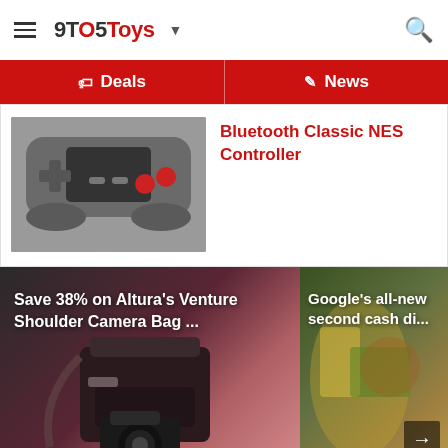9TO5Toys
Deals | News
Bluetooth Classic NES Controller
[Figure (photo): Camera bag with camera, dark reddish background. Text: Save 38% on Altura's Venture Shoulder Camera Bag ...]
Save 38% on Altura's Venture Shoulder Camera Bag ...
[Figure (photo): Dark background with colorful items. Text: Google's all-new second cash di...]